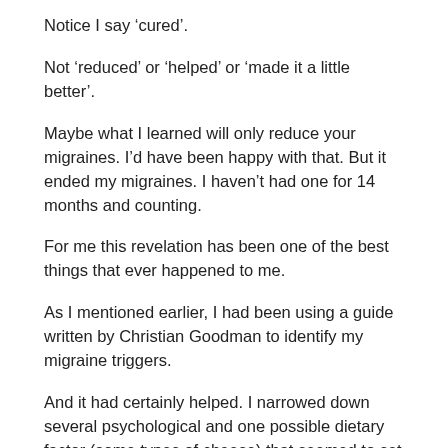Notice I say ‘cured’.
Not ‘reduced’ or ‘helped’ or ‘made it a little better’.
Maybe what I learned will only reduce your migraines. I’d have been happy with that. But it ended my migraines. I haven’t had one for 14 months and counting.
For me this revelation has been one of the best things that ever happened to me.
As I mentioned earlier, I had been using a guide written by Christian Goodman to identify my migraine triggers.
And it had certainly helped. I narrowed down several psychological and one possible dietary factor (some types of cheese) that seemed to set off my migraines.
By addressing those factors I managed to reduce the severity of some of my migraines. I still got them but sometimes they were